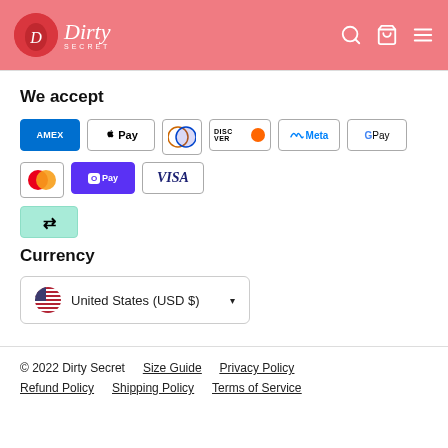Dirty Secret
We accept
[Figure (logo): Payment method icons: American Express, Apple Pay, Diners Club, Discover, Meta Pay, Google Pay, Mastercard, Shop Pay, Visa, Afterpay]
Currency
United States (USD $)
© 2022 Dirty Secret   Size Guide   Privacy Policy   Refund Policy   Shipping Policy   Terms of Service